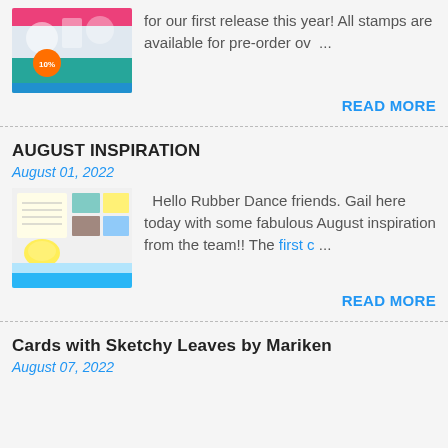[Figure (illustration): Thumbnail image with stamps/crafting motifs and a circular orange badge showing 10%]
for our first release this year! All stamps are available for pre-order ov ...
READ MORE
AUGUST INSPIRATION
August 01, 2022
[Figure (photo): Thumbnail showing craft color swatches, a lemon, and a beach scene]
Hello Rubber Dance friends. Gail here today with some fabulous August inspiration from the team!! The first c ...
READ MORE
Cards with Sketchy Leaves by Mariken
August 07, 2022